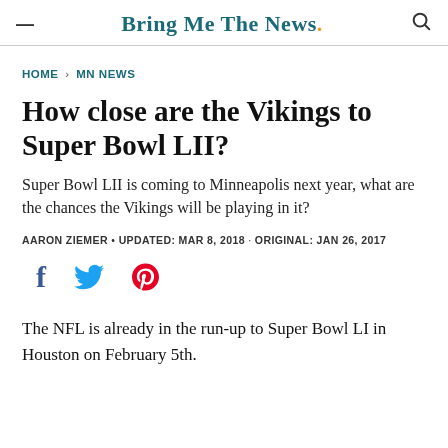Bring Me The News
HOME > MN NEWS
How close are the Vikings to Super Bowl LII?
Super Bowl LII is coming to Minneapolis next year, what are the chances the Vikings will be playing in it?
AARON ZIEMER • UPDATED: MAR 8, 2018 · ORIGINAL: JAN 26, 2017
[Figure (other): Social sharing icons: Facebook, Twitter, Pinterest]
The NFL is already in the run-up to Super Bowl LI in Houston on February 5th.